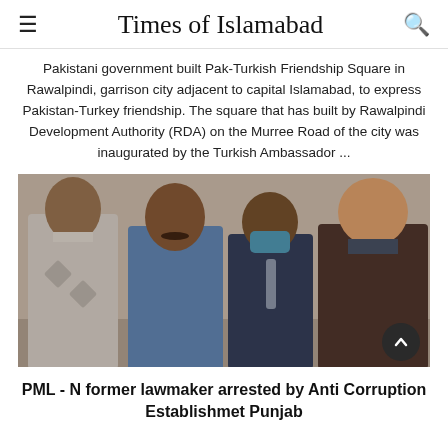Times of Islamabad
Pakistani government built Pak-Turkish Friendship Square in Rawalpindi, garrison city adjacent to capital Islamabad, to express Pakistan-Turkey friendship. The square that has built by Rawalpindi Development Authority (RDA) on the Murree Road of the city was inaugurated by the Turkish Ambassador ...
[Figure (photo): Four men standing together indoors. From left: a man in a grey patterned sweater, a man in a blue shirt with a moustache, a man wearing a blue face mask and dark jacket, and a man in a dark brown sweater.]
PML - N former lawmaker arrested by Anti Corruption Establishmet Punjab